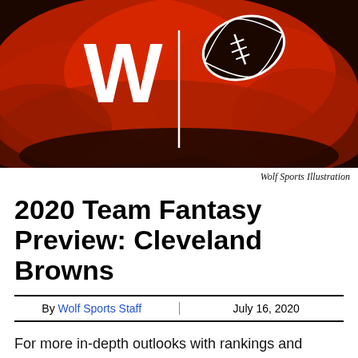[Figure (illustration): Wolf Sports logo with a large stylized W and a football icon on a red smoke/cloud background over a dark brown base. White vertical divider line between the W and football.]
Wolf Sports Illustration
2020 Team Fantasy Preview: Cleveland Browns
By Wolf Sports Staff | July 16, 2020
For more in-depth outlooks with rankings and projections, get the Fantasy Consigliere draft guide and much more using promo code